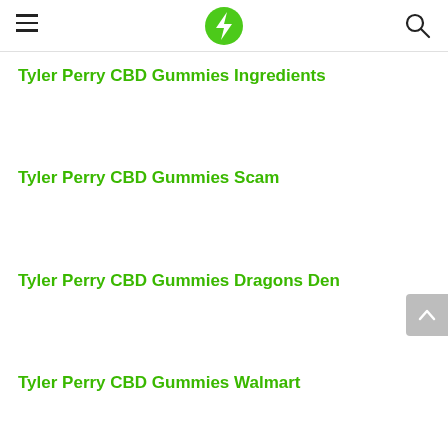Navigation header with hamburger menu, lightning bolt logo, and search icon
Tyler Perry CBD Gummies Ingredients
Tyler Perry CBD Gummies Scam
Tyler Perry CBD Gummies Dragons Den
Tyler Perry CBD Gummies Walmart